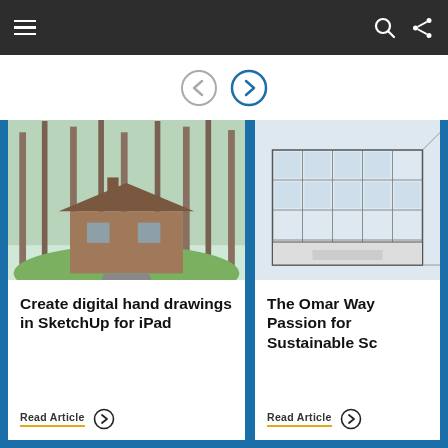Navigation bar with hamburger menu, search icon, and share icon
[Figure (other): Navigation arrows: a grey left arrow circle and a blue right arrow circle (carousel navigation)]
[Figure (photo): Architectural rendering of a modern wooden house surrounded by tall trees in a forest setting]
Create digital hand drawings in SketchUp for iPad
Read Article
[Figure (illustration): Architectural sketch/line drawing of a modern multi-story building with a glass curtain wall facade]
The Omar Way Passion for Sustainable Sc
Read Article